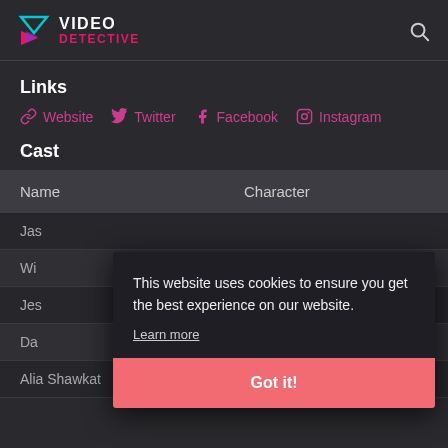VIDEO DETECTIVE
Links
Website   Twitter   Facebook   Instagram
Cast
| Name | Character |
| --- | --- |
| Jas… |  |
| Wi… |  |
| Jes… |  |
| Da… |  |
| Alia Shawkat | Maeby Fünke |
This website uses cookies to ensure you get the best experience on our website. Learn more
Got it!